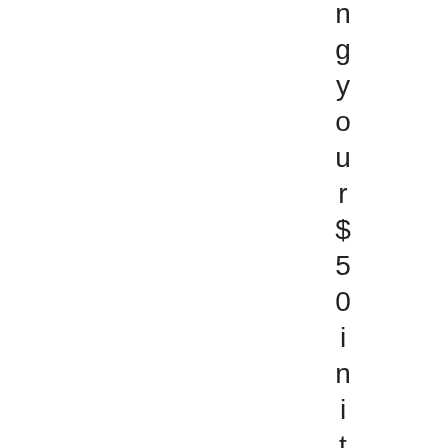n g y o u r $ 5 0 i n i t i a l p a y